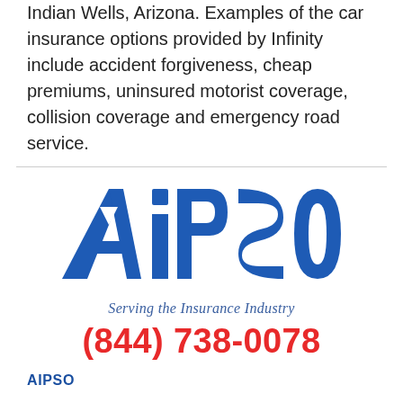Indian Wells, Arizona. Examples of the car insurance options provided by Infinity include accident forgiveness, cheap premiums, uninsured motorist coverage, collision coverage and emergency road service.
[Figure (logo): AIPSO logo — large blue bold letters 'AiPSO' with a triangle inside the letter A, and tagline 'Serving the Insurance Industry' in blue italic serif font below]
(844) 738-0078
AIPSO